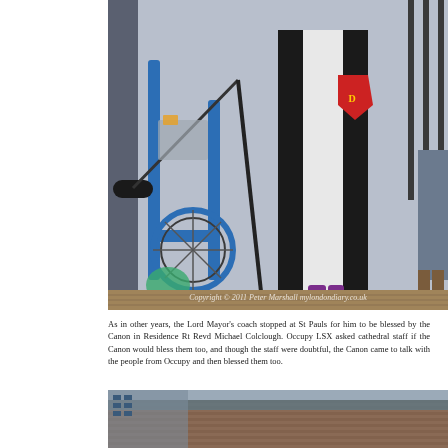[Figure (photo): Outdoor scene showing a person in black clerical robes with a red shield crest/badge, standing near a microphone boom and bicycle. A watermark reads 'Copyright © 2011 Peter Marshall mylondondiary.co.uk'.]
As in other years, the Lord Mayor's coach stopped at St Pauls for him to be blessed by the Canon in Residence Rt Revd Michael Colclough. Occupy LSX asked cathedral staff if the Canon would bless them too, and though the staff were doubtful, the Canon came to talk with the people from Occupy and then blessed them too.
[Figure (photo): Urban building exterior, partial view showing a large brick and glass structure (appears to be Tate Modern or similar), photographed from across the Thames.]